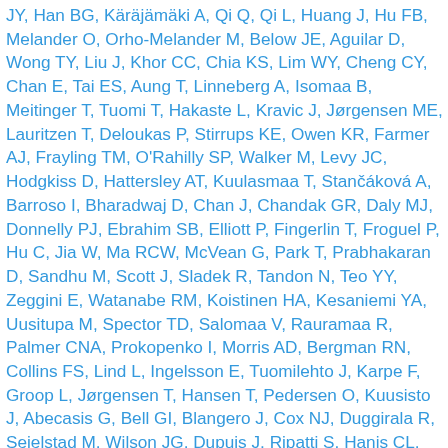JY, Han BG, Käräjämäki A, Qi Q, Qi L, Huang J, Hu FB, Melander O, Orho-Melander M, Below JE, Aguilar D, Wong TY, Liu J, Khor CC, Chia KS, Lim WY, Cheng CY, Chan E, Tai ES, Aung T, Linneberg A, Isomaa B, Meitinger T, Tuomi T, Hakaste L, Kravic J, Jørgensen ME, Lauritzen T, Deloukas P, Stirrups KE, Owen KR, Farmer AJ, Frayling TM, O'Rahilly SP, Walker M, Levy JC, Hodgkiss D, Hattersley AT, Kuulasmaa T, Stančáková A, Barroso I, Bharadwaj D, Chan J, Chandak GR, Daly MJ, Donnelly PJ, Ebrahim SB, Elliott P, Fingerlin T, Froguel P, Hu C, Jia W, Ma RCW, McVean G, Park T, Prabhakaran D, Sandhu M, Scott J, Sladek R, Tandon N, Teo YY, Zeggini E, Watanabe RM, Koistinen HA, Kesaniemi YA, Uusitupa M, Spector TD, Salomaa V, Rauramaa R, Palmer CNA, Prokopenko I, Morris AD, Bergman RN, Collins FS, Lind L, Ingelsson E, Tuomilehto J, Karpe F, Groop L, Jørgensen T, Hansen T, Pedersen O, Kuusisto J, Abecasis G, Bell GI, Blangero J, Cox NJ, Duggirala R, Seielstad M, Wilson JG, Dupuis J, Ripatti S, Hanis CL, Florez JC, Mohlke KL, Meigs JB, Laakso M, Morris AP, Boehnke M, Altshuler D, McCarthy MI, Gloyn AL, and Lindgren CM